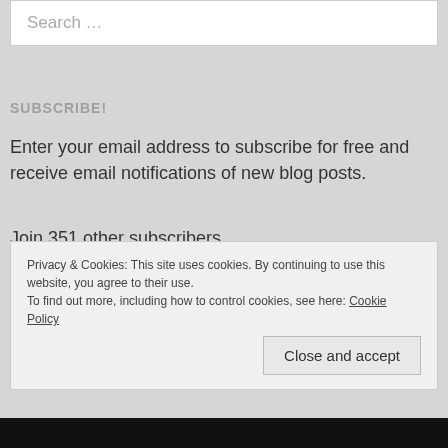Search …
SUBSCRIBE!
Enter your email address to subscribe for free and receive email notifications of new blog posts.
Join 351 other subscribers
Email Address
Privacy & Cookies: This site uses cookies. By continuing to use this website, you agree to their use.
To find out more, including how to control cookies, see here: Cookie Policy
Close and accept